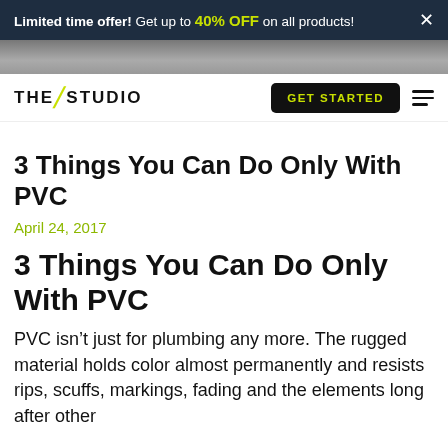Limited time offer! Get up to 40% OFF on all products! ×
[Figure (photo): Decorative header image, grayscale texture]
THE STUDIO — GET STARTED navigation bar
3 Things You Can Do Only With PVC
April 24, 2017
3 Things You Can Do Only With PVC
PVC isn't just for plumbing any more. The rugged material holds color almost permanently and resists rips, scuffs, markings, fading and the elements long after other